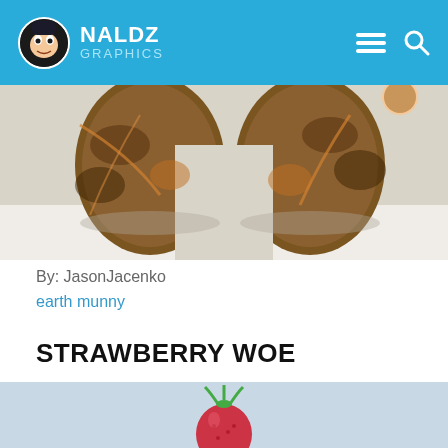NALDZ GRAPHICS
[Figure (photo): Close-up photo of an earth-textured munny figure bottom, showing brown, orange and dark earthy tones on a white surface]
By: JasonJacenko
earth munny
STRAWBERRY WOE
[Figure (photo): Photo of a strawberry-shaped munny figure on a light blue-grey background, showing a red strawberry body with green stem leaves on top]